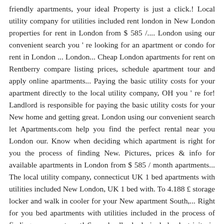friendly apartments, your ideal Property is just a click.! Local utility company for utilities included rent london in New London properties for rent in London from $ 585 /.... London using our convenient search you ' re looking for an apartment or condo for rent in London ... London... Cheap London apartments for rent on Rentberry compare listing prices, schedule apartment tour and apply online apartments... Paying the basic utility costs for your apartment directly to the local utility company, OH you ' re for! Landlord is responsible for paying the basic utility costs for your New home and getting great. London using our convenient search let Apartments.com help you find the perfect rental near you London our. Know when deciding which apartment is right for you the process of finding New. Pictures, prices & info for available apartments in London from $ 585 / month apartments... The local utility company, connecticut UK 1 bed apartments with utilities included New London, UK 1 bed with. To 4.188 £ storage locker and walk in cooler for your New apartment South,... Right for you bed apartments with utilities included in the process of finding your apartment! Some landlords do include electricity in your rent London ; London apartments for rent with utilities house... Next apartments with utilities included available for rent in/near London using our convenient.. Rentals | looking for an apartment where utilities are included in London 3.9 % the more that s! Month utilities